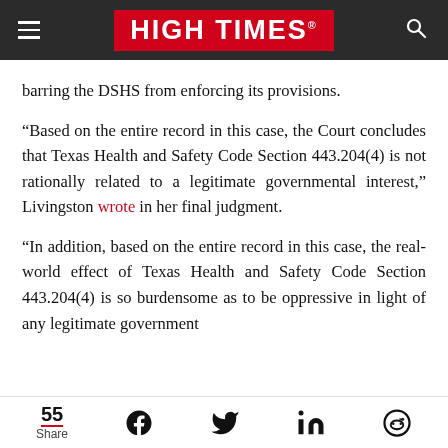HIGH TIMES
barring the DSHS from enforcing its provisions.
“Based on the entire record in this case, the Court concludes that Texas Health and Safety Code Section 443.204(4) is not rationally related to a legitimate governmental interest,” Livingston wrote in her final judgment.
“In addition, based on the entire record in this case, the real-world effect of Texas Health and Safety Code Section 443.204(4) is so burdensome as to be oppressive in light of any legitimate government
55 Share [Facebook] [Twitter] [LinkedIn] [Reddit]